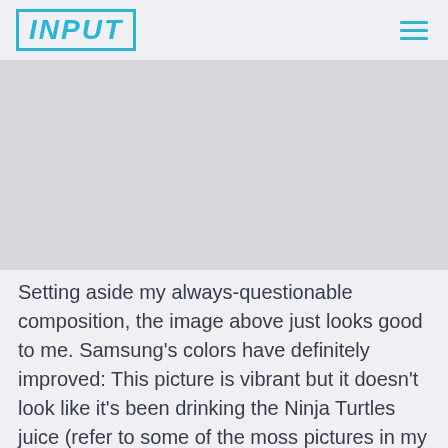INPUT
[Figure (photo): Large image placeholder area, light gray background, showing a photo (not visible in this crop)]
Setting aside my always-questionable composition, the image above just looks good to me. Samsung's colors have definitely improved: This picture is vibrant but it doesn't look like it's been drinking the Ninja Turtles juice (refer to some of the moss pictures in my Note 20 Ultra piece for examples of this).